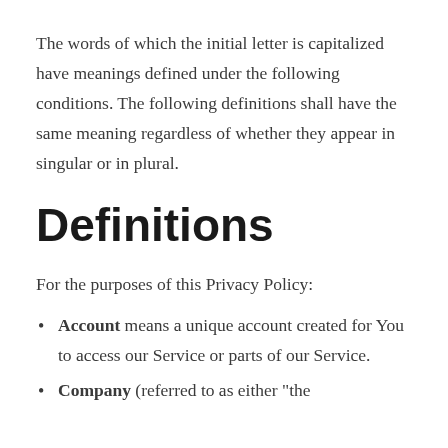The words of which the initial letter is capitalized have meanings defined under the following conditions. The following definitions shall have the same meaning regardless of whether they appear in singular or in plural.
Definitions
For the purposes of this Privacy Policy:
Account means a unique account created for You to access our Service or parts of our Service.
Company (referred to as either "the